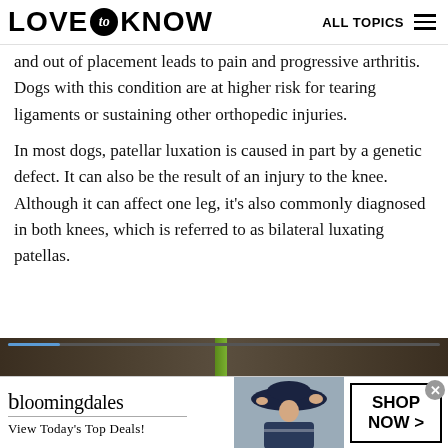LOVE to KNOW — ALL TOPICS
and out of placement leads to pain and progressive arthritis. Dogs with this condition are at higher risk for tearing ligaments or sustaining other orthopedic injuries.
In most dogs, patellar luxation is caused in part by a genetic defect. It can also be the result of an injury to the knee. Although it can affect one leg, it's also commonly diagnosed in both knees, which is referred to as bilateral luxating patellas.
[Figure (photo): Partial view of an image with dark brown background and a green plant stem, with a media player progress bar visible at the top]
[Figure (screenshot): Bloomingdale's advertisement banner showing logo, 'View Today's Top Deals!' tagline, a woman wearing a large hat, and a 'SHOP NOW >' call-to-action button]